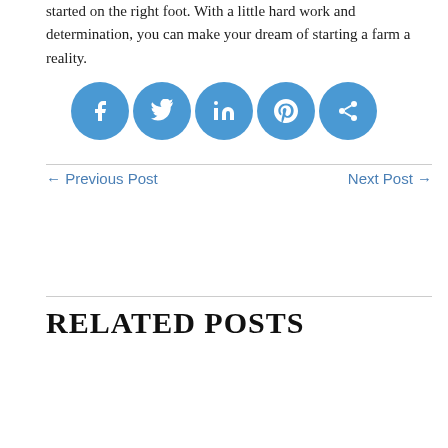started on the right foot. With a little hard work and determination, you can make your dream of starting a farm a reality.
[Figure (infographic): Five blue circular social media sharing icons: Facebook, Twitter, LinkedIn, Pinterest, and a generic share icon]
← Previous Post    Next Post →
RELATED POSTS